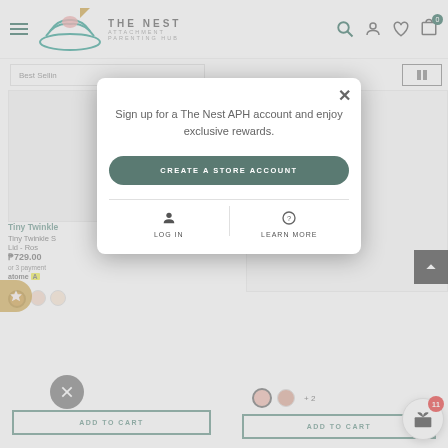[Figure (screenshot): The Nest Attachment Parenting Hub website header with hamburger menu, logo (bird/nest illustration), brand name THE NEST ATTACHMENT PARENTING HUB, and icons for search, account, wishlist, and cart (showing 0).]
Best Sellin
Tiny Twinkle
Tiny Twinkle S Lid - Ros
₱729.00
or 3 payment
atome A
Sign up for a The Nest APH account and enjoy exclusive rewards.
CREATE A STORE ACCOUNT
LOG IN
LEARN MORE
+ 2
ADD TO CART
ADD TO CART
11